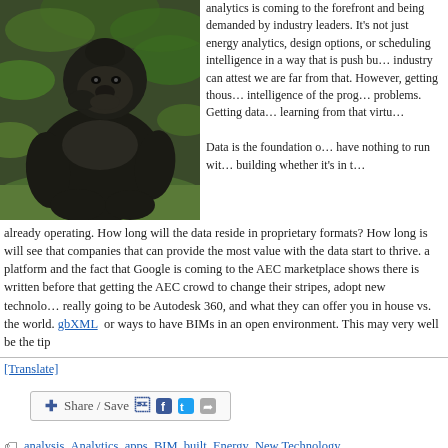[Figure (photo): A large gorilla sitting on grass in front of green foliage, appearing contemplative with hand near face.]
analytics is coming to the forefront and being demanded by industry leaders.  It's not just energy analytics, design options, or scheduling intelligence in a way that is push button.  Anyone in the industry can attest we are far from that.  However, getting thousands of points of intelligence of the program is a start to solving these problems.  Getting data in and then mining it and learning from that virtually is the future.
Data is the foundation of all analytics and if you have nothing to run with to drive it smarter for a building whether it's in the design phase or already operating.  How long will the data reside in proprietary formats?  How long is will see that companies that can provide the most value with the data start to thrive.  a platform and the fact that Google is coming to the AEC marketplace shows there is written before that getting the AEC crowd to change their stripes, adopt new technology, really going to be Autodesk 360, and what they can offer you in house vs. the world. gbXML  or ways to have BIMs in an open environment.  This may very well be the tip
[Translate]
[Figure (other): Share / Save social sharing button with Facebook, Twitter, and forward icons.]
analysis, Analytics, apps, BIM, built, Energy, New Technology